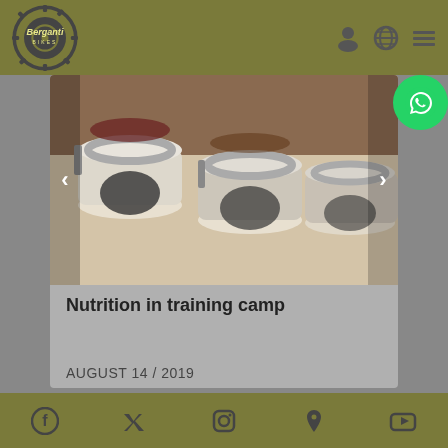Berganti Bikes
[Figure (photo): Photo of glass jars with dried foods/spices with clip-top lids, viewed from above]
Nutrition in training camp
AUGUST 14 / 2019
Social media icons: Facebook, Twitter, Instagram, location pin, YouTube